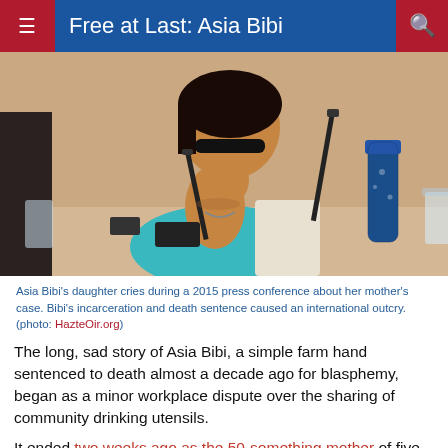Free at Last: Asia Bibi
[Figure (photo): A young woman (Asia Bibi's daughter) cries at a press conference table with microphones, a blue water bottle, and a glass visible. She is wearing a teal and red outfit, wiping her face with her hand. The setting appears to be an indoor conference room.]
Asia Bibi's daughter cries during a 2015 press conference about her mother's case. Bibi's incarceration and death sentence caused an international outcry. (photo: HazteOir.org)
The long, sad story of Asia Bibi, a simple farm hand sentenced to death almost a decade ago for blasphemy, began as a minor workplace dispute over the sharing of community drinking utensils.
It ended two weeks ago as the 50-something mother of five boarded a plane in Pakistan together with her husband, bound